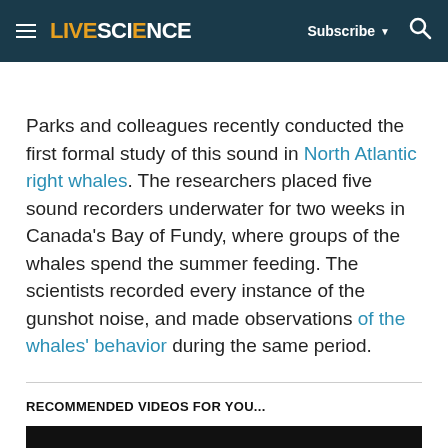LIVESCIENCE | Subscribe ▼  🔍
Parks and colleagues recently conducted the first formal study of this sound in North Atlantic right whales. The researchers placed five sound recorders underwater for two weeks in Canada's Bay of Fundy, where groups of the whales spend the summer feeding. The scientists recorded every instance of the gunshot noise, and made observations of the whales' behavior during the same period.
RECOMMENDED VIDEOS FOR YOU...